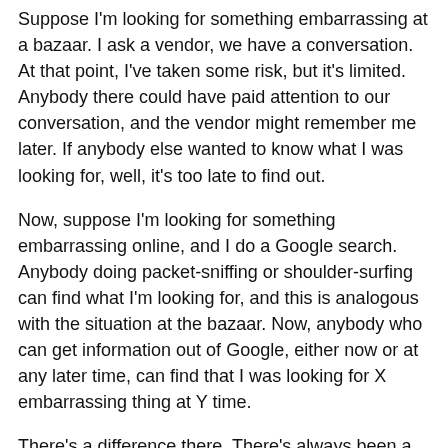Suppose I'm looking for something embarrassing at a bazaar. I ask a vendor, we have a conversation. At that point, I've taken some risk, but it's limited. Anybody there could have paid attention to our conversation, and the vendor might remember me later. If anybody else wanted to know what I was looking for, well, it's too late to find out.
Now, suppose I'm looking for something embarrassing online, and I do a Google search. Anybody doing packet-sniffing or shoulder-surfing can find what I'm looking for, and this is analogous with the situation at the bazaar. Now, anybody who can get information out of Google, either now or at any later time, can find that I was looking for X embarrassing thing at Y time.
There's a difference there. There's always been a certain amount of likely anonymity in conducting business with strangers in public places, and that's going away. This has a really big psychological and sociological impact, and the only reasons it hasn't had a legal impact are that (a) not enough people have been hit by this yet, and (b) people in power generally find it convenient if the rest of us don't have as much privacy as we think we do.